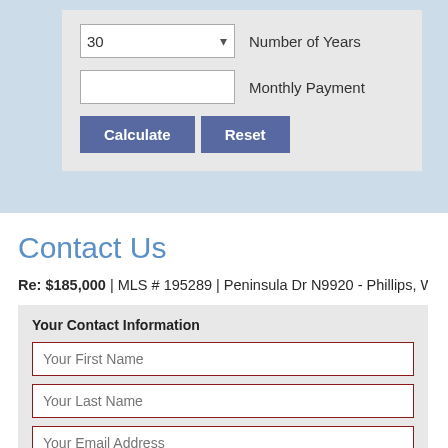[Figure (screenshot): Mortgage calculator form with a dropdown showing '30' for Number of Years, a blank input for Monthly Payment, and Calculate/Reset buttons]
Contact Us
Re: $185,000  |  MLS # 195289  |  Peninsula Dr N9920 - Phillips, WI 54555
[Figure (screenshot): Contact form with fields: Your First Name, Your Last Name, Your Email Address (red border), Your Phone Number, and Comments or Questions label]